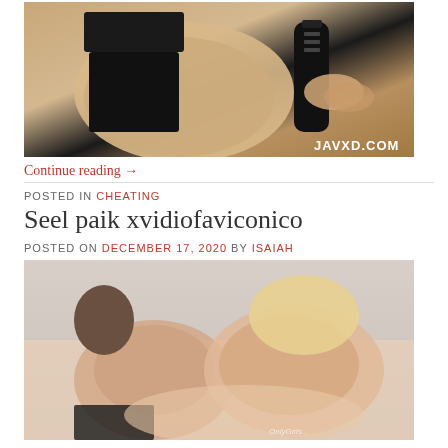[Figure (photo): Adult content image with watermark JAVXD.COM]
Continue reading →
POSTED IN CHEATING
Seel paik xvidiofaviconico
POSTED ON DECEMBER 17, 2020 BY ISAIAH
[Figure (photo): Adult content image with watermark OnlyGirls...]